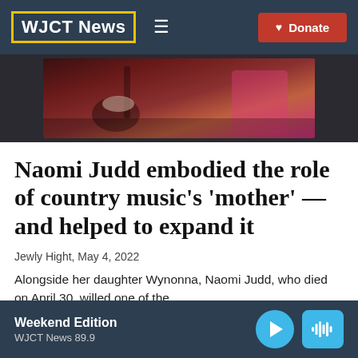WJCT News
[Figure (photo): A person playing an acoustic guitar, with another person visible in the background wearing a pink outfit, in a dark concert setting]
Naomi Judd embodied the role of country music's 'mother' — and helped to expand it
Jewly Hight, May 4, 2022
Alongside her daughter Wynonna, Naomi Judd, who died on April 30, willed one of the
Weekend Edition
WJCT News 89.9